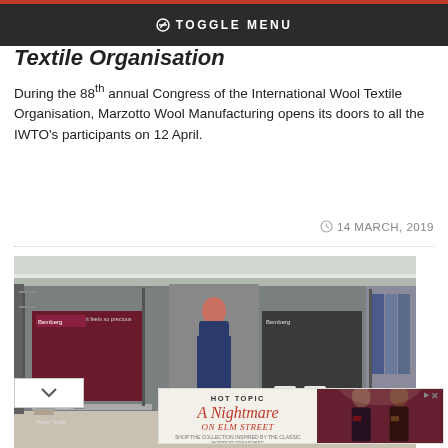TOGGLE MENU
Textile Organisation
During the 88th annual Congress of the International Wool Textile Organisation, Marzotto Wool Manufacturing opens its doors to all the IWTO's participants on 12 April.
14 MARCH, 2019
[Figure (photo): Exhibition hall showing textile booths with Bemberg branding, a mannequin in dark clothing, fabric racks, and display tables.]
[Figure (photo): Advertisement for Hot Topic: A Nightmare on Elm Street, showing two young people in band-style clothing with Shop Now button.]